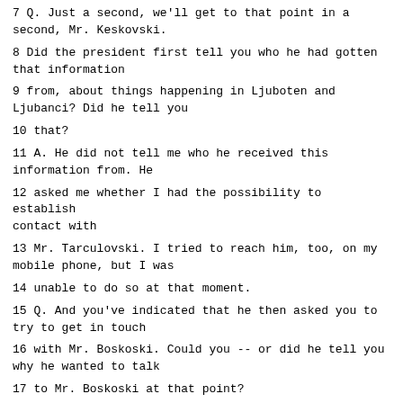7 Q. Just a second, we'll get to that point in a second, Mr. Keskovski.
8 Did the president first tell you who he had gotten that information
9 from, about things happening in Ljuboten and Ljubanci? Did he tell you
10 that?
11 A. He did not tell me who he received this information from. He
12 asked me whether I had the possibility to establish contact with
13 Mr. Tarculovski. I tried to reach him, too, on my mobile phone, but I was
14 unable to do so at that moment.
15 Q. And you've indicated that he then asked you to try to get in touch
16 with Mr. Boskoski. Could you -- or did he tell you why he wanted to talk
17 to Mr. Boskoski at that point?